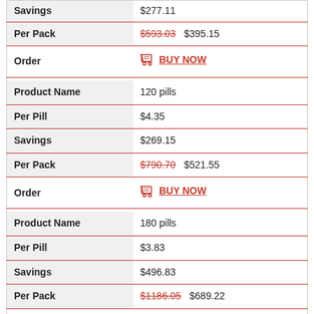| Field | Value |
| --- | --- |
| Savings | $277.11 (partial, top cut off) |
| Per Pack | $593.03  $395.15 |
| Order | BUY NOW |
| Product Name | 120 pills |
| Per Pill | $4.35 |
| Savings | $269.15 |
| Per Pack | $790.70  $521.55 |
| Order | BUY NOW |
| Product Name | 180 pills |
| Per Pill | $3.83 |
| Savings | $496.83 |
| Per Pack | $1186.05  $689.22 |
| Order | BUY NOW |
| Product Name | 270 pills |
| Per Pill | $3.57 |